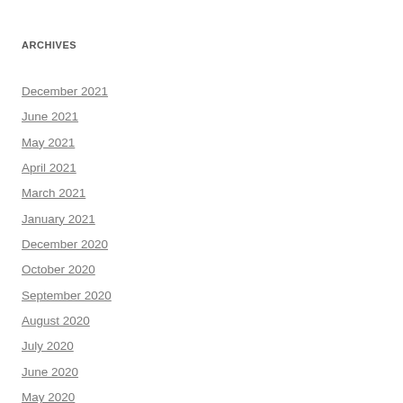ARCHIVES
December 2021
June 2021
May 2021
April 2021
March 2021
January 2021
December 2020
October 2020
September 2020
August 2020
July 2020
June 2020
May 2020
April 2020
March 2020